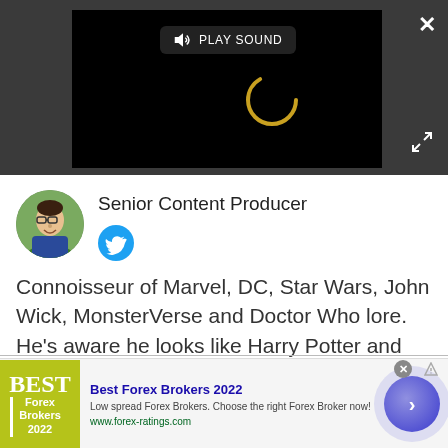[Figure (screenshot): Video player overlay with dark background, showing a loading spinner and a PLAY SOUND button. Has a close X button top-right and expand arrows bottom-right.]
Senior Content Producer
[Figure (photo): Circular avatar photo of a young man with glasses, smiling, wearing a blue shirt, with green background.]
[Figure (logo): Twitter bird icon in blue circle]
Connoisseur of Marvel, DC, Star Wars, John Wick, MonsterVerse and Doctor Who lore. He's aware he looks like Harry Potter and Clark Kent.
[Figure (infographic): Advertisement for Best Forex Brokers 2022 with olive-green logo, ad text, URL www.forex-ratings.com, and a blue circular CTA button with right arrow.]